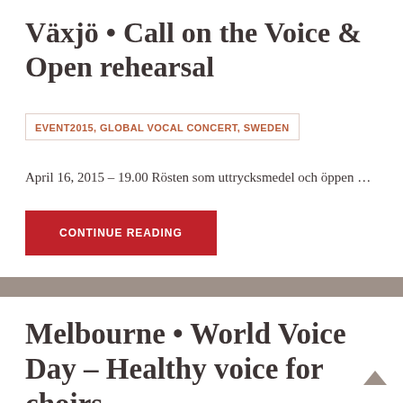Växjö • Call on the Voice & Open rehearsal
EVENT2015, GLOBAL VOCAL CONCERT, SWEDEN
April 16, 2015 – 19.00 Rösten som uttrycksmedel och öppen …
CONTINUE READING
Melbourne • World Voice Day – Healthy voice for choirs
AUSTRALIA, EVENT2015